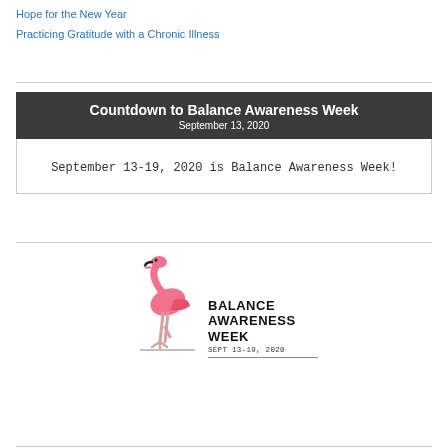Hope for the New Year
Practicing Gratitude with a Chronic Illness
Countdown to Balance Awareness Week
September 13, 2020
September 13-19, 2020 is Balance Awareness Week!
[Figure (logo): Balance Awareness Week logo featuring a pink flamingo and bold text reading BALANCE AWARENESS WEEK SEPT 13-19, 2020]